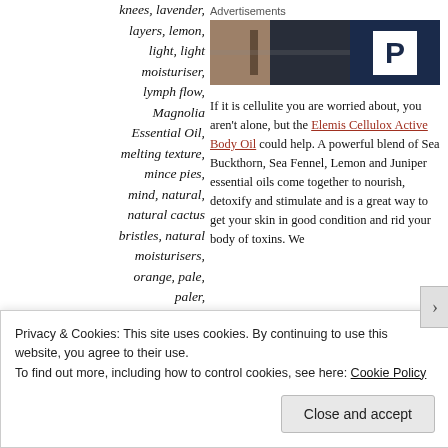knees, lavender, layers, lemon, light, light moisturiser, lymph flow, Magnolia Essential Oil, melting texture, mince pies, mind, natural, natural cactus bristles, natural moisturisers, orange, pale, paler, peppermint, Pigs
Advertisements
[Figure (other): Advertisement banner with a dark left panel showing a blurred interior scene and a dark navy right panel with a white square containing a bold letter P.]
If it is cellulite you are worried about, you aren’t alone, but the Elemis Cellulox Active Body Oil could help. A powerful blend of Sea Buckthorn, Sea Fennel, Lemon and Juniper essential oils come together to nourish, detoxify and stimulate and is a great way to get your skin in good condition and rid your body of toxins. We
Privacy & Cookies: This site uses cookies. By continuing to use this website, you agree to their use. To find out more, including how to control cookies, see here: Cookie Policy
Close and accept